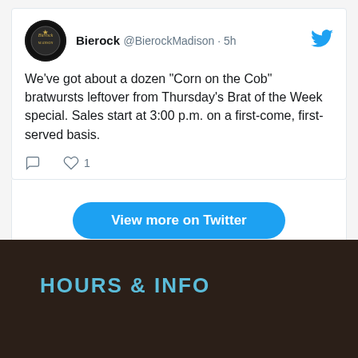[Figure (screenshot): Embedded Twitter/X tweet from Bierock @BierockMadison posted 5h ago. Tweet text: We've got about a dozen "Corn on the Cob" bratwursts leftover from Thursday's Brat of the Week special. Sales start at 3:00 p.m. on a first-come, first-served basis. Shows reply and like icons (1 like). Below tweet is a 'View more on Twitter' button and 'Learn more about privacy on Twitter' link.]
HOURS & INFO